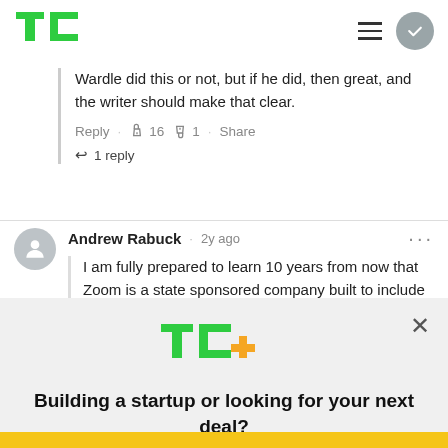[Figure (logo): TechCrunch TC logo in green]
Wardle did this or not, but if he did, then great, and the writer should make that clear.
Reply · 👍 16 👎 1 · Share
↩ 1 reply
Andrew Rabuck · 2y ago
I am fully prepared to learn 10 years from now that Zoom is a state sponsored company built to include
[Figure (logo): TechCrunch TC+ logo in green and orange]
Building a startup or looking for your next deal? We have you covered.
EXPLORE NOW